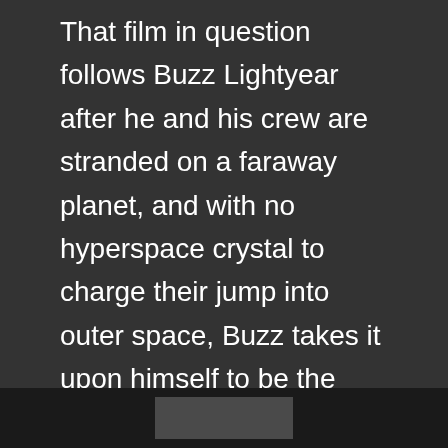That film in question follows Buzz Lightyear after he and his crew are stranded on a faraway planet, and with no hyperspace crystal to charge their jump into outer space, Buzz takes it upon himself to be the hero that will get the ship off the planet.